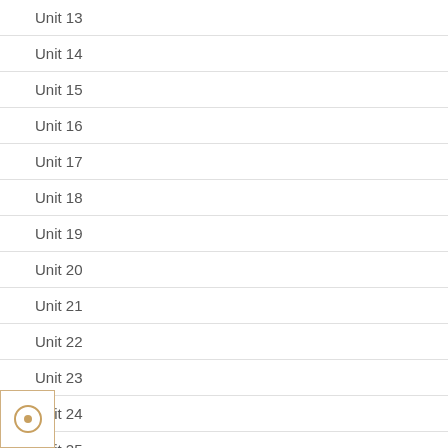Unit 13
Unit 14
Unit 15
Unit 16
Unit 17
Unit 18
Unit 19
Unit 20
Unit 21
Unit 22
Unit 23
Unit 24
Unit 25